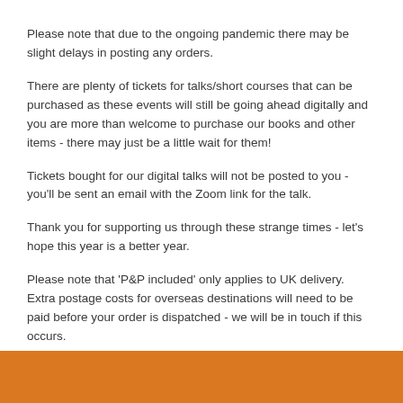Please note that due to the ongoing pandemic there may be slight delays in posting any orders.
There are plenty of tickets for talks/short courses that can be purchased as these events will still be going ahead digitally and you are more than welcome to purchase our books and other items - there may just be a little wait for them!
Tickets bought for our digital talks will not be posted to you - you'll be sent an email with the Zoom link for the talk.
Thank you for supporting us through these strange times - let's hope this year is a better year.
Please note that 'P&P included' only applies to UK delivery. Extra postage costs for overseas destinations will need to be paid before your order is dispatched - we will be in touch if this occurs.